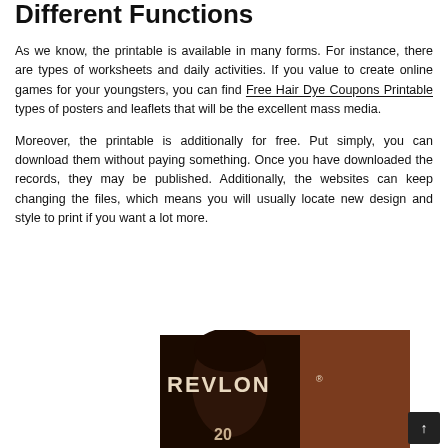Different Functions
As we know, the printable is available in many forms. For instance, there are types of worksheets and daily activities. If you value to create online games for your youngsters, you can find Free Hair Dye Coupons Printable types of posters and leaflets that will be the excellent mass media.
Moreover, the printable is additionally for free. Put simply, you can download them without paying something. Once you have downloaded the records, they may be published. Additionally, the websites can keep changing the files, which means you will usually locate new design and style to print if you want a lot more.
[Figure (photo): Revlon hair dye product box showing a woman with dark brown hair and the number 20, with a brown/copper colored box design. A dark scroll-to-top button is visible in the lower right corner.]